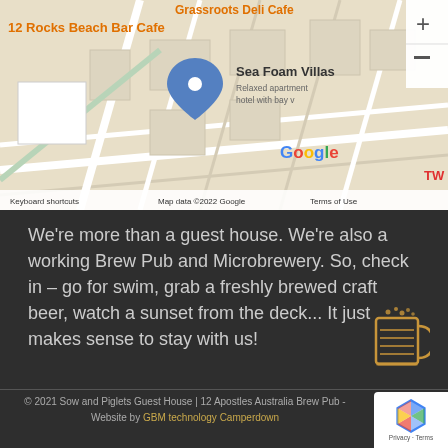[Figure (map): Google Maps screenshot showing Sea Foam Villas location with pin, nearby label '12 Rocks Beach Bar Cafe', 'Grassroots Deli Cafe', map controls plus/minus, Google logo, keyboard shortcuts bar, map data copyright 2022 Google, Terms of Use.]
We're more than a guest house. We're also a working Brew Pub and Microbrewery. So, check in – go for swim, grab a freshly brewed craft beer, watch a sunset from the deck... It just makes sense to stay with us!
© 2021 Sow and Piglets Guest House | 12 Apostles Australia Brew Pub - Website by GBM technology Camperdown